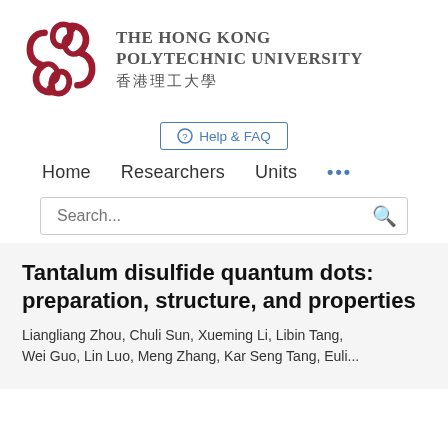[Figure (logo): The Hong Kong Polytechnic University logo — red interlocking knot emblem with English name and Chinese characters 香港理工大學]
Help & FAQ
Home   Researchers   Units   •••
Search...
Tantalum disulfide quantum dots: preparation, structure, and properties
Liangliang Zhou, Chuli Sun, Xueming Li, Libin Tang, Wei Guo, Lin Luo, Meng Zhang, Kar Seng Tang, Euli...